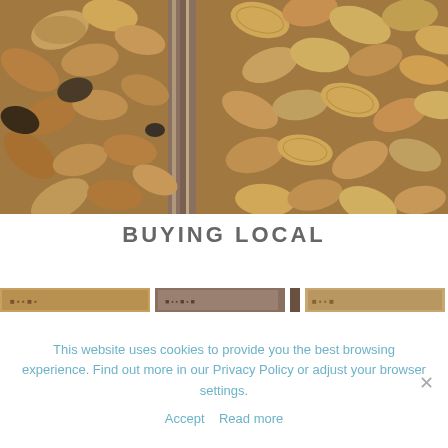[Figure (photo): Close-up photo of almonds in and around a wicker basket, showing various shades of brown nuts with textured shells.]
BUYING LOCAL
[Figure (photo): Horizontal thumbnail strip showing small preview images of articles or gallery items.]
This website uses cookies to provide you the best browsing experience. Find out more in our Privacy Policy or adjust your browser settings.
Accept   Read more